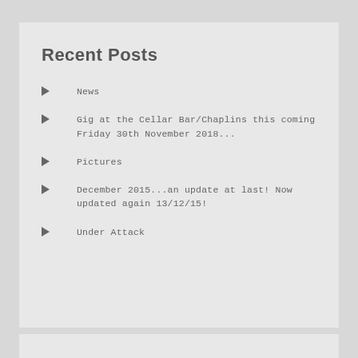Recent Posts
News
Gig at the Cellar Bar/Chaplins this coming Friday 30th November 2018...
Pictures
December 2015...an update at last! Now updated again 13/12/15!
Under Attack